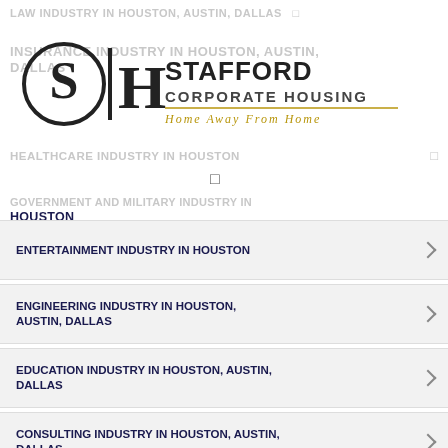LAW INDUSTRY IN HOUSTON, AUSTIN, DALLAS
[Figure (logo): Stafford Corporate Housing logo with SH letters and tagline Home Away From Home]
INSURANCE INDUSTRY IN HOUSTON, AUSTIN, DALLAS
HEALTHCARE INDUSTRY IN HOUSTON
GOVERNMENT AND MILITARY INDUSTRY IN HOUSTON
ENTERTAINMENT INDUSTRY IN HOUSTON
ENGINEERING INDUSTRY IN HOUSTON, AUSTIN, DALLAS
EDUCATION INDUSTRY IN HOUSTON, AUSTIN, DALLAS
CONSULTING INDUSTRY IN HOUSTON, AUSTIN, DALLAS
CONSTRUCTION INDUSTRY IN HOUSTON, AUSTIN, DALLAS